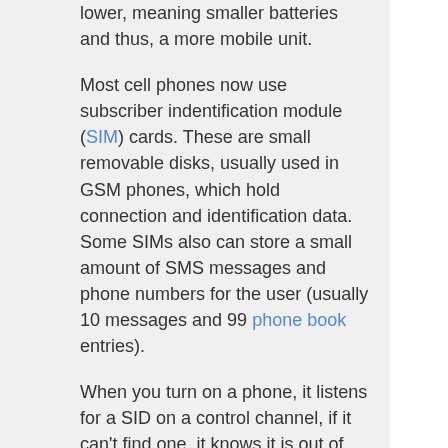lower, meaning smaller batteries and thus, a more mobile unit.
Most cell phones now use subscriber indentification module (SIM) cards. These are small removable disks, usually used in GSM phones, which hold connection and identification data. Some SIMs also can store a small amount of SMS messages and phone numbers for the user (usually 10 messages and 99 phone book entries).
When you turn on a phone, it listens for a SID on a control channel, if it can't find one, it knows it is out of range and will display a "no signal" message. When it recives a SID, the phone compares it to